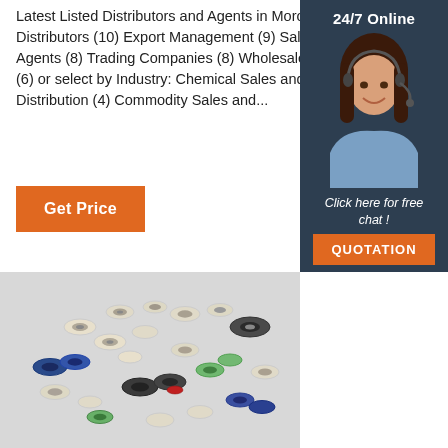Latest Listed Distributors and Agents in Morocco. Distributors (10) Export Management (9) Sales Agents (8) Trading Companies (8) Wholesalers (6) or select by Industry: Chemical Sales and Distribution (4) Commodity Sales and...
Get Price
[Figure (photo): 24/7 Online customer service representative — woman with headset smiling, with dark background]
Click here for free chat !
QUOTATION
[Figure (photo): Assorted small plastic and rubber bearings/wheels in various colors (white, blue, dark grey, green) scattered on a light grey surface]